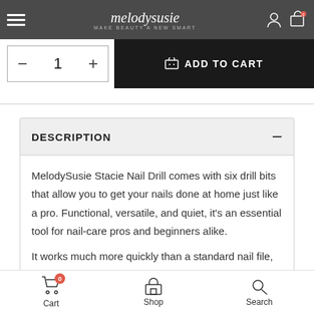melodysusie — MAKE BEAUTY A NEW SMART
[Figure (screenshot): Quantity selector (minus, 1, plus) and Add to Cart button]
DESCRIPTION
MelodySusie Stacie Nail Drill comes with six drill bits that allow you to get your nails done at home just like a pro. Functional, versatile, and quiet, it's an essential tool for nail-care pros and beginners alike.
It works much more quickly than a standard nail file, which is why it's an especially important tool for nail artwork. It also works well for fixing cracks in acrylics, removing lifted acrylics,
Cart  Shop  Search